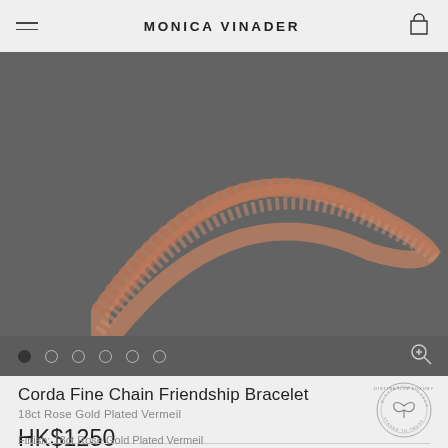MONICA VINADER
[Figure (photo): Close-up of a rose gold braided chain friendship bracelet, curved shape against a dark grey background]
Corda Fine Chain Friendship Bracelet
18ct Rose Gold Plated Vermeil
HK$1250
Finish: 18ct Rose Gold Plated Vermeil